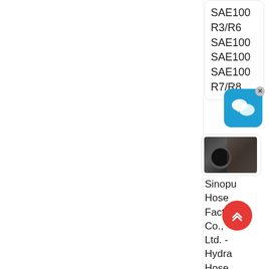SAE100 R3/R6 SAE100 SAE100 SAE100 R7/R8
[Figure (screenshot): Chat/messaging app icon in blue with speech bubble icons, with an X close button]
[Figure (photo): Close-up photo of a hydraulic hose end fitting, dark rubber hose]
Sinopu Hose Factor Co., Ltd. - Hydra Hose Assely
[Figure (other): Red circular scroll-to-top button with upward chevron arrows]